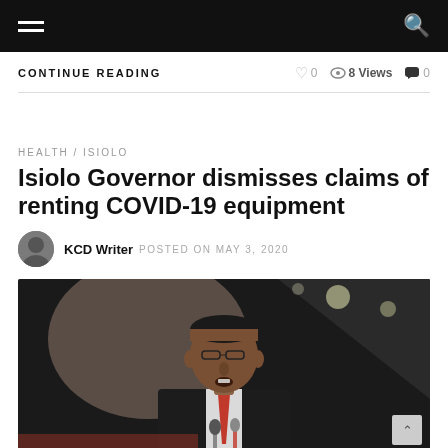Navigation bar with hamburger menu and search icon
CONTINUE READING  ♡ 0  👁 8 Views  💬 0
HEALTH / ISIOLO
Isiolo Governor dismisses claims of renting COVID-19 equipment
KCD Writer  POSTED ON MAY 3, 2020
[Figure (photo): Photo of Isiolo Governor speaking at a podium with microphones, wearing a suit and glasses, against a dark background with stage lights]